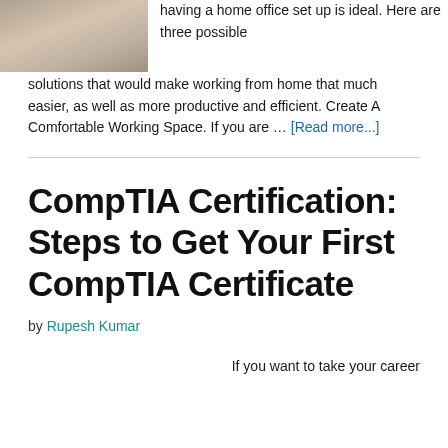[Figure (photo): Thumbnail image of a home office or staircase area]
having a home office set up is ideal. Here are three possible solutions that would make working from home that much easier, as well as more productive and efficient. Create A Comfortable Working Space. If you are … [Read more...]
CompTIA Certification: Steps to Get Your First CompTIA Certificate
by Rupesh Kumar
If you want to take your career